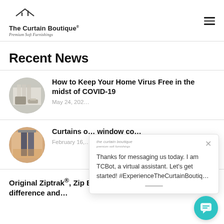The Curtain Boutique® — Premium Soft Furnishings
Recent News
[Figure (photo): Circular thumbnail of a living room with curtains and blinds]
How to Keep Your Home Virus Free in the midst of COVID-19
May 24, 202…
[Figure (photo): Circular thumbnail of curtains/window coverings]
Curtains o… window co…
February 16,…
[Figure (screenshot): Chat popup from TCBot virtual assistant saying: Thanks for messaging us today. I am TCBot, a virtual assistant. Let's get started! #ExperienceTheCurtainBoutiq…]
Original Ziptrak®, Zip Blinds, and Ziptrack… What's the difference and…